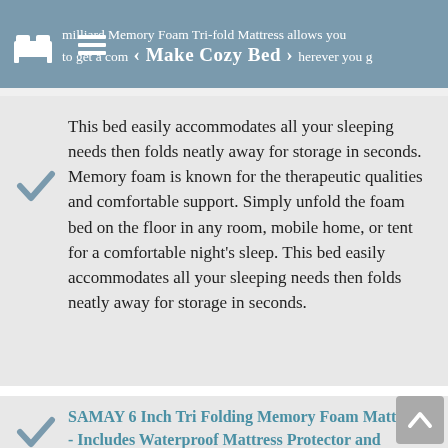milliard Memory Foam Tri-fold Mattress allows you to get a comfortable sleep wherever you g… < Make Cozy Bed >
This bed easily accommodates all your sleeping needs then folds neatly away for storage in seconds. Memory foam is known for the therapeutic qualities and comfortable support. Simply unfold the foam bed on the floor in any room, mobile home, or tent for a comfortable night's sleep. This bed easily accommodates all your sleeping needs then folds neatly away for storage in seconds.
SAMAY 6 Inch Tri Folding Memory Foam Mattress - Includes Waterproof Mattress Protector and Washable Cover #ad - Memory foam is known for the therapeutic qualities and comfortable support. Our certipur-us certified premium memory foam supersedes all with superior high density construction that will not lose its shape. Mattress